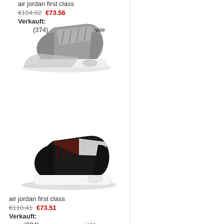[Figure (photo): Gray Air Jordan First Class sneakers on white background]
air jordan first class
€124.82  €73.56
Verkauft:
(374)  wie
[Figure (photo): Black/white Air Jordan First Class sneakers on white background]
air jordan first class
€110.41  €73.51
Verkauft:
(304)  wie